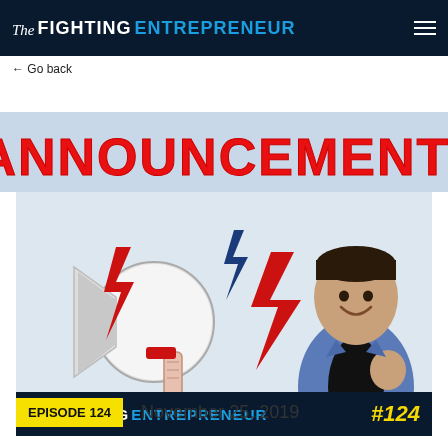The Fighting Entrepreneur
← Go back
[Figure (illustration): Announcement banner with red bold text 'ANNOUNCEMENT!' on a light blue-grey background, followed by a podcast thumbnail showing a person holding a megaphone with red and blue lightning bolts and a smiling man in a blue suit, with 'The Fighting Entrepreneur #124' logo bar at the bottom of the image.]
EPISODE 124    November 25, 2019